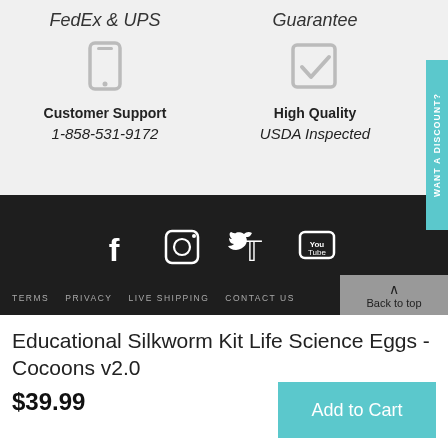FedEx & UPS
Guarantee
[Figure (illustration): Mobile phone icon (gray outline)]
[Figure (illustration): Checkmark in a box icon (gray)]
Customer Support
High Quality
1-858-531-9172
USDA Inspected
WANT A DISCOUNT?
[Figure (illustration): Social media icons: Facebook, Instagram, Twitter, YouTube (white on dark background)]
TERMS   PRIVACY   LIVE SHIPPING   CONTACT US
Back to top
Educational Silkworm Kit Life Science Eggs - Cocoons v2.0
$39.99
Add to Cart